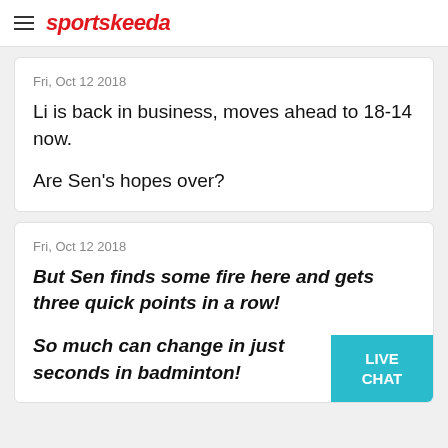sportskeeda
Fri, Oct 12 2018
Li is back in business, moves ahead to 18-14 now.

Are Sen's hopes over?
Fri, Oct 12 2018
But Sen finds some fire here and gets three quick points in a row!

So much can change in just seconds in badminton!